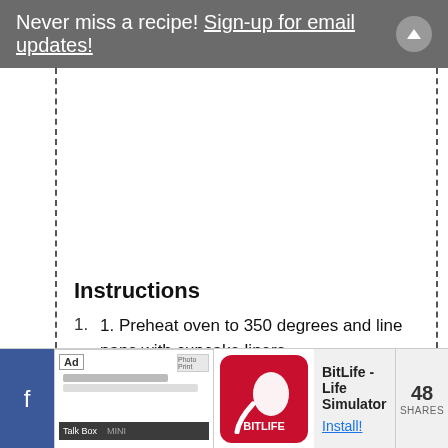Never miss a recipe! Sign-up for email updates!
Instructions
1. Preheat oven to 350 degrees and line pans with cupcake liners.
2. Sift cake mix into a bowl and set aside.
3. In a large bowl, whisk eggs, oil, buttermilk,
[Figure (screenshot): Bottom ad bar showing Facebook icon, advertisement for BitLife - Life Simulator app with Install button, and 48 SHARES counter]